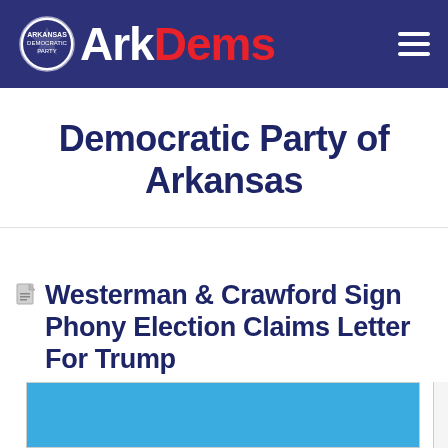ArkDems
Democratic Party of Arkansas
Westerman & Crawford Sign Phony Election Claims Letter For Trump
[Figure (photo): Blue rectangular image block, partially visible at the bottom of the page]